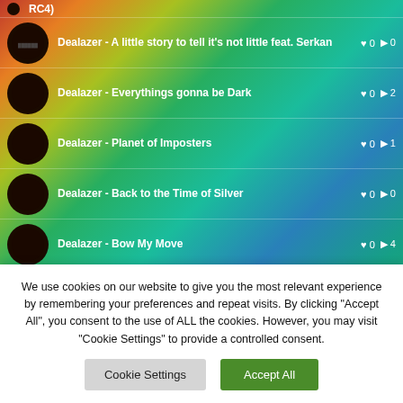RC4)
Dealazer - A little story to tell it's not little feat. Serkan | ♥ 0 | ▶ 0
Dealazer - Everythings gonna be Dark | ♥ 0 | ▶ 2
Dealazer - Planet of Imposters | ♥ 0 | ▶ 1
Dealazer - Back to the Time of Silver | ♥ 0 | ▶ 0
Dealazer - Bow My Move | ♥ 0 | ▶ 4
Dealazer - What is Life for | ♥ 0 | ▶ 0
Dealazer - Metric Shapes feat. LisaBe | ♥ 0 | ▶ 0
We use cookies on our website to give you the most relevant experience by remembering your preferences and repeat visits. By clicking "Accept All", you consent to the use of ALL the cookies. However, you may visit "Cookie Settings" to provide a controlled consent.